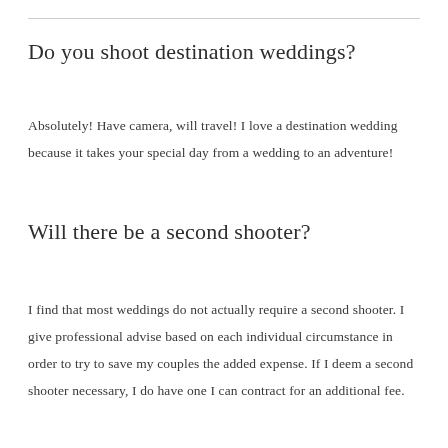Do you shoot destination weddings?
Absolutely! Have camera, will travel! I love a destination wedding because it takes your special day from a wedding to an adventure!
Will there be a second shooter?
I find that most weddings do not actually require a second shooter. I give professional advise based on each individual circumstance in order to try to save my couples the added expense. If I deem a second shooter necessary, I do have one I can contract for an additional fee.